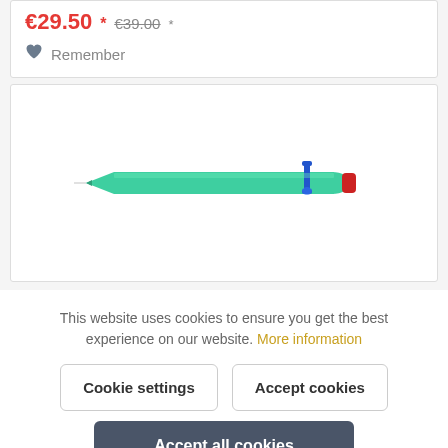€29.50 * €39.00 *
Remember
[Figure (photo): A teal/turquoise ballpoint pen with a blue clip and red tip, shown horizontally against a white background.]
This website uses cookies to ensure you get the best experience on our website. More information
Cookie settings
Accept cookies
Accept all cookies